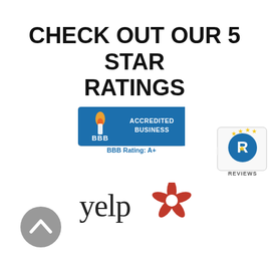CHECK OUT OUR 5 STAR RATINGS
[Figure (logo): BBB Accredited Business badge with BBB Rating: A+]
[Figure (logo): Reviews badge with R logo and stars]
[Figure (logo): Yelp logo]
[Figure (other): Gray circular scroll-up button with chevron arrow]